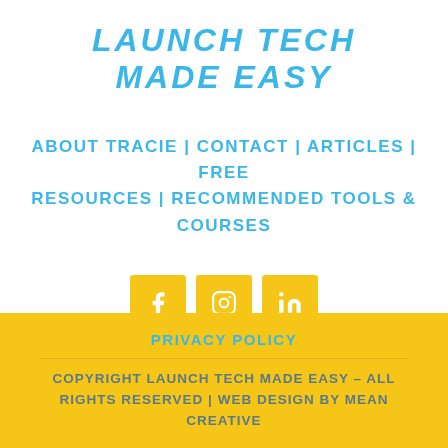LAUNCH TECH MADE EASY
ABOUT TRACIE | CONTACT | ARTICLES | FREE RESOURCES | RECOMMENDED TOOLS & COURSES
[Figure (infographic): Three social media icon buttons (Facebook, Instagram, LinkedIn) in yellow/gold square backgrounds with white icons]
PRIVACY POLICY
COPYRIGHT LAUNCH TECH MADE EASY – ALL RIGHTS RESERVED | WEB DESIGN BY MEAN CREATIVE